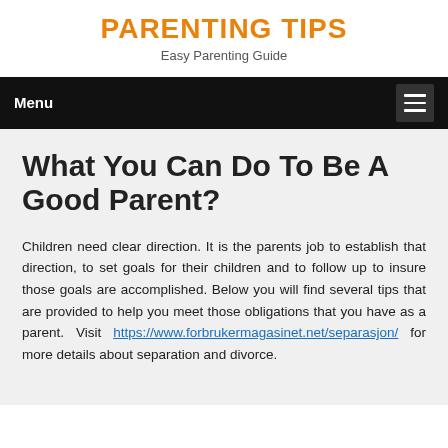PARENTING TIPS
Easy Parenting Guide
What You Can Do To Be A Good Parent?
Children need clear direction. It is the parents job to establish that direction, to set goals for their children and to follow up to insure those goals are accomplished. Below you will find several tips that are provided to help you meet those obligations that you have as a parent. Visit https://www.forbrukermagasinet.net/separasjon/ for more details about separation and divorce.